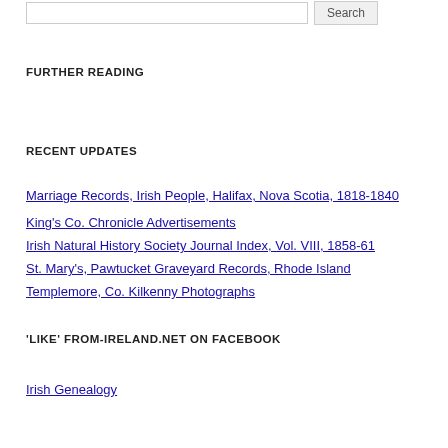FURTHER READING
RECENT UPDATES
Marriage Records, Irish People, Halifax, Nova Scotia, 1818-1840
King's Co. Chronicle Advertisements
Irish Natural History Society Journal Index, Vol. VIII, 1858-61
St. Mary's, Pawtucket Graveyard Records, Rhode Island
Templemore, Co. Kilkenny Photographs
'LIKE' FROM-IRELAND.NET ON FACEBOOK
Irish Genealogy